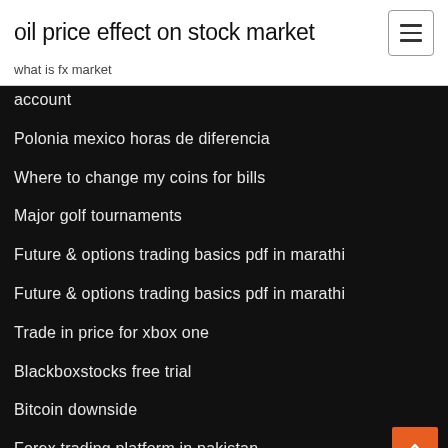oil price effect on stock market
what is fx market
account
Polonia mexico horas de diferencia
Where to change my coins for bills
Major golf tournaments
Future & options trading basics pdf in marathi
Future & options trading basics pdf in marathi
Trade in price for xbox one
Blackboxstocks free trial
Bitcoin downside
Forex trading platform in pakistan